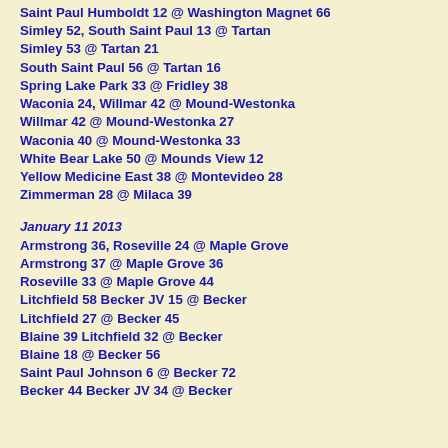Saint Paul Humboldt 12 @ Washington Magnet 66
Simley 52, South Saint Paul 13 @ Tartan
Simley 53 @ Tartan 21
South Saint Paul 56 @ Tartan 16
Spring Lake Park 33 @ Fridley 38
Waconia 24, Willmar 42 @ Mound-Westonka
Willmar 42 @ Mound-Westonka 27
Waconia 40 @ Mound-Westonka 33
White Bear Lake 50 @ Mounds View 12
Yellow Medicine East 38 @ Montevideo 28
Zimmerman 28 @ Milaca 39
January 11 2013
Armstrong 36, Roseville 24 @ Maple Grove
Armstrong 37 @ Maple Grove 36
Roseville 33 @ Maple Grove 44
Litchfield 58 Becker JV 15 @ Becker
Litchfield 27 @ Becker 45
Blaine 39 Litchfield 32 @ Becker
Blaine 18 @ Becker 56
Saint Paul Johnson 6 @ Becker 72
Becker 44 Becker JV 34 @ Becker